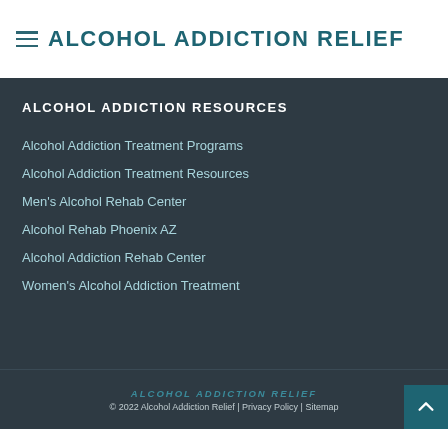ALCOHOL ADDICTION RELIEF
ALCOHOL ADDICTION RESOURCES
Alcohol Addiction Treatment Programs
Alcohol Addiction Treatment Resources
Men's Alcohol Rehab Center
Alcohol Rehab Phoenix AZ
Alcohol Addiction Rehab Center
Women's Alcohol Addiction Treatment
ALCOHOL ADDICTION RELIEF
© 2022 Alcohol Addiction Relief | Privacy Policy | Sitemap